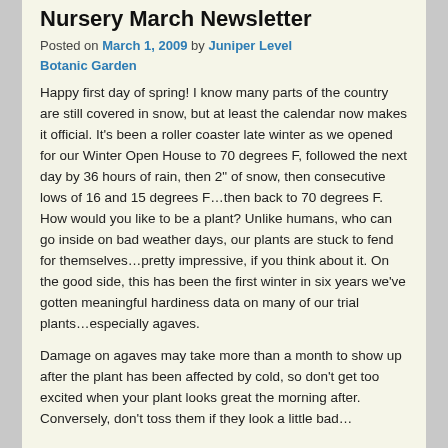Nursery March Newsletter
Posted on March 1, 2009 by Juniper Level Botanic Garden
Happy first day of spring! I know many parts of the country are still covered in snow, but at least the calendar now makes it official. It's been a roller coaster late winter as we opened for our Winter Open House to 70 degrees F, followed the next day by 36 hours of rain, then 2" of snow, then consecutive lows of 16 and 15 degrees F…then back to 70 degrees F. How would you like to be a plant? Unlike humans, who can go inside on bad weather days, our plants are stuck to fend for themselves…pretty impressive, if you think about it. On the good side, this has been the first winter in six years we've gotten meaningful hardiness data on many of our trial plants…especially agaves.
Damage on agaves may take more than a month to show up after the plant has been affected by cold, so don't get too excited when your plant looks great the morning after. Conversely, don't toss them if they look a little bad…